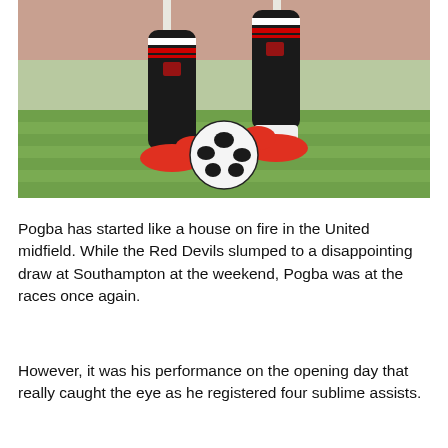[Figure (photo): Close-up photo of a footballer's legs wearing black and white striped socks with red boots, dribbling a black and white football on a grass pitch. The socks have Manchester United badge markings.]
Pogba has started like a house on fire in the United midfield. While the Red Devils slumped to a disappointing draw at Southampton at the weekend, Pogba was at the races once again.
However, it was his performance on the opening day that really caught the eye as he registered four sublime assists.